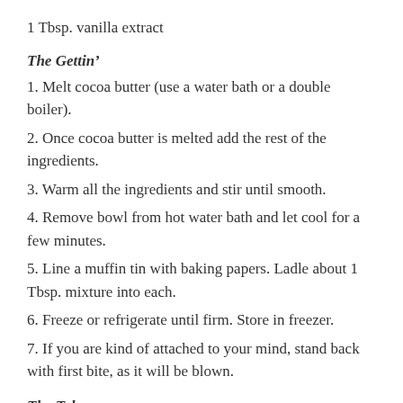1 Tbsp. vanilla extract
The Gettin'
1. Melt cocoa butter (use a water bath or a double boiler).
2. Once cocoa butter is melted add the rest of the ingredients.
3. Warm all the ingredients and stir until smooth.
4. Remove bowl from hot water bath and let cool for a few minutes.
5. Line a muffin tin with baking papers. Ladle about 1 Tbsp. mixture into each.
6. Freeze or refrigerate until firm. Store in freezer.
7. If you are kind of attached to your mind, stand back with first bite, as it will be blown.
The Take
These Are Amazing. You almost believe you're eating a